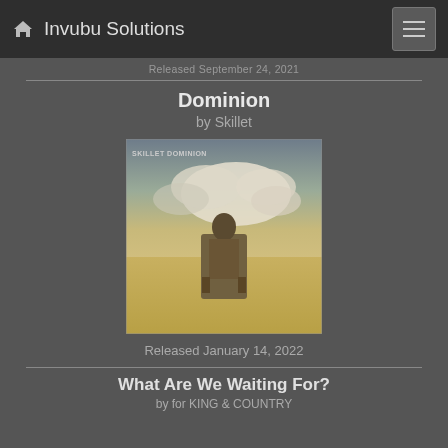Invubu Solutions
Released September 24, 2021
Dominion
by Skillet
[Figure (photo): Album cover for Dominion by Skillet — a person seated on a throne in a vast desert landscape under dramatic cloudy sky, sepia/sandy tones, with 'SKILLET DOMINION' text in top left]
Released January 14, 2022
What Are We Waiting For?
by for KING & COUNTRY